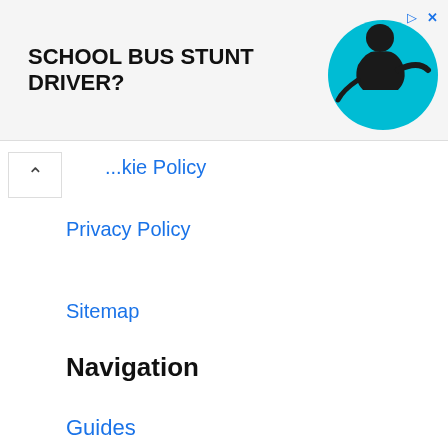[Figure (infographic): Advertisement banner: 'SCHOOL BUS STUNT DRIVER?' text in bold black on light background, with a circular cyan/teal graphic showing a person figure on the right side. Ad controls (play and close X) in top right corner in blue.]
...kie Policy (partially visible, cut off at top)
Privacy Policy
Sitemap
Navigation
Guides
Apps
Games
Accessories